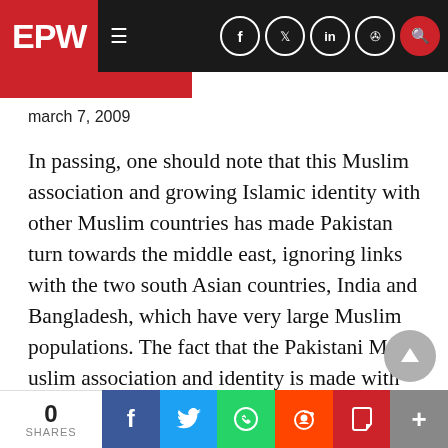EPW
march 7, 2009
In passing, one should note that this Muslim association and growing Islamic identity with other Muslim countries has made Pakistan turn towards the middle east, ignoring links with the two south Asian countries, India and Bangladesh, which have very large Muslim populations. The fact that the Pakistani M uslim association and identity is made with the middle east rather than within south Asia which has three of the four largest Muslim populations, underlines the arguments made above, that Pakistan's desire t
0 SHARES  f  twitter  whatsapp  reddit  pocket  +